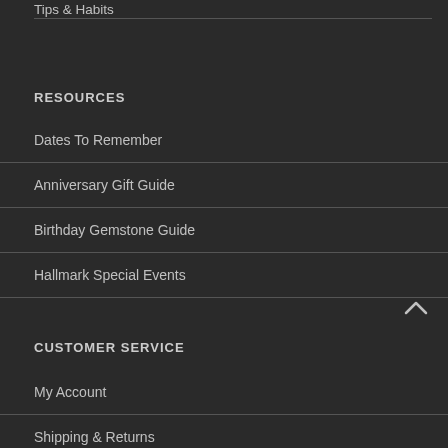Tips & Habits
RESOURCES
Dates To Remember
Anniversary Gift Guide
Birthday Gemstone Guide
Hallmark Special Events
CUSTOMER SERVICE
My Account
Shipping & Returns
Privacy Policy